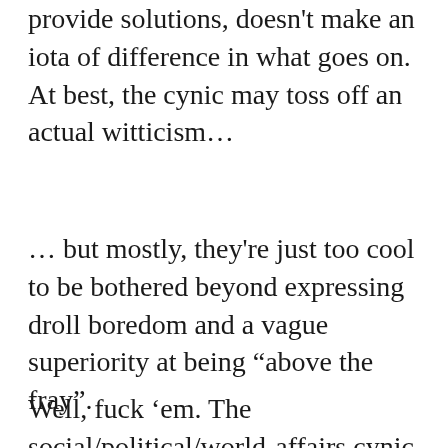provide solutions, doesn't make an iota of difference in what goes on. At best, the cynic may toss off an actual witticism…
… but mostly, they're just too cool to be bothered beyond expressing droll boredom and a vague superiority at being “above the fray”.
Well, fuck ‘em. The social/political/world-affairs cynic is a close cousin of the dude who’s never met a payroll, yet feels completely qualified to deliver